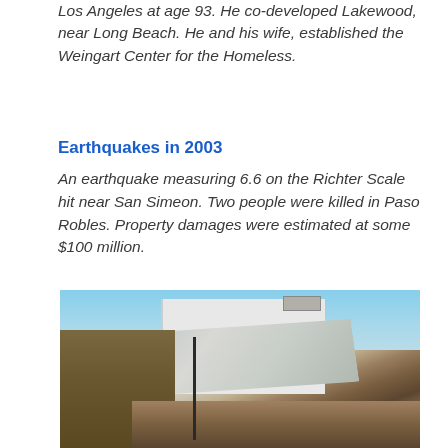Los Angeles at age 93. He co-developed Lakewood, near Long Beach. He and his wife, established the Weingart Center for the Homeless.
Earthquakes in 2003
An earthquake measuring 6.6 on the Richter Scale hit near San Simeon. Two people were killed in Paso Robles. Property damages were estimated at some $100 million.
[Figure (photo): Photograph showing earthquake damage in Paso Robles: collapsed building rubble with a large white tarp covering debris, a dark brick building on the left, blue sky in the background, and a vertical pole amid the destruction.]